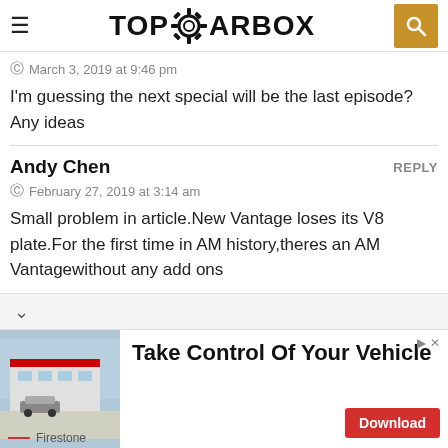TOPGEARBOX
March 3, 2019 at 9:46 pm
I'm guessing the next special will be the last episode? Any ideas
Andy Chen — REPLY
February 27, 2019 at 3:14 am
Small problem in article.New Vantage loses its V8 plate.For the first time in AM history,theres an AM Vantage​without any add ons​
[Figure (screenshot): Advertisement banner for Firestone: Take Control Of Your Vehicle with Download button]
Take Control Of Your Vehicle
Firestone